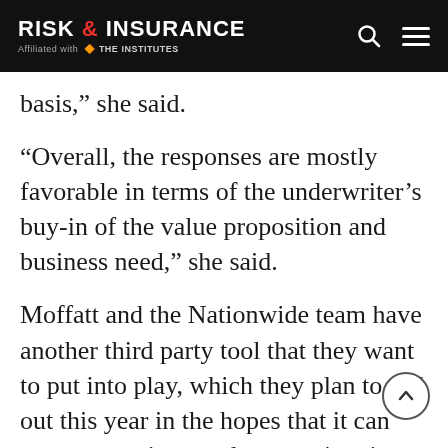RISK & INSURANCE — Affiliated with THE INSTITUTES
basis,” she said.
“Overall, the responses are mostly favorable in terms of the underwriter’s buy-in of the value proposition and business need,” she said.
Moffatt and the Nationwide team have another third party tool that they want to put into play, which they plan to roll out this year in the hopes that it can start generating results sometime in 2023. That addition is decile scoring, essentially risk ranking, not a new term but something Moffatt said is